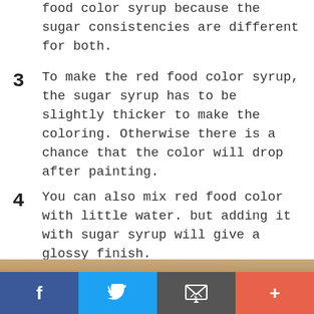food color syrup because the sugar consistencies are different for both.
3  To make the red food color syrup, the sugar syrup has to be slightly thicker to make the coloring. Otherwise there is a chance that the color will drop after painting.
4  You can also mix red food color with little water. but adding it with sugar syrup will give a glossy finish.
[Figure (photo): Photo of food items, partially visible at bottom of page]
[Figure (infographic): Social media sharing bar with Facebook, Twitter, email, and plus buttons]